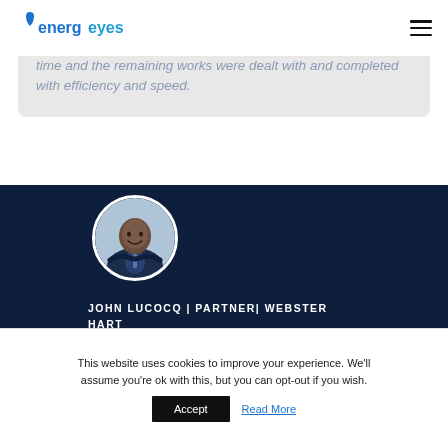energeyes
time and the remaining works were dealt with and completed with efficiency and speed.
[Figure (photo): Circular headshot photo of John Lucocq, a man in a suit with arms crossed, smiling, against a light background.]
JOHN LUCOCQ | PARTNER| WEBSTER HART
This website uses cookies to improve your experience. We'll assume you're ok with this, but you can opt-out if you wish.